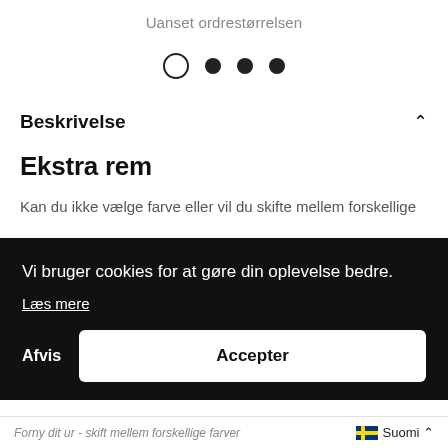Uanset ordrestørrelsen
[Figure (other): Pagination dots: one open circle followed by three filled circles]
Beskrivelse
Ekstra rem
Kan du ikke vælge farve eller vil du skifte mellem forskellige
Vi bruger cookies for at gøre din oplevelse bedre. Læs mere
Afvis
Accepter
Forny dit ur - skift mellem forskellige farver
Suomi